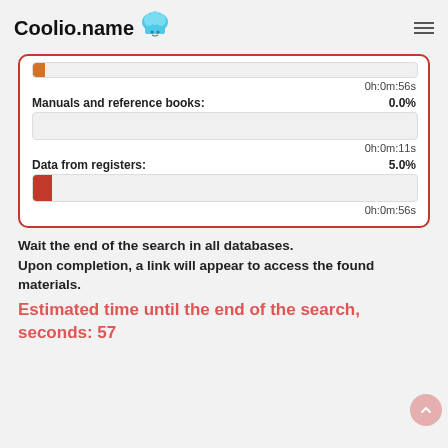Coolio.name
[Figure (infographic): Progress card with red border showing two progress bars: 'Manuals and reference books: 0.0%' with time 0h:0m:11s, and 'Data from registers: 5.0%' with time 0h:0m:56s. A partial bar at the top shows time 0h:0m:56s.]
Wait the end of the search in all databases.
Upon completion, a link will appear to access the found materials.
Estimated time until the end of the search, seconds: 57